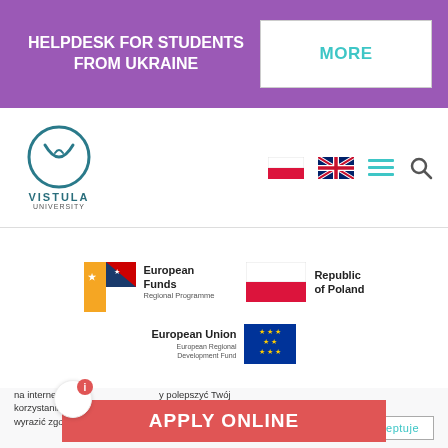HELPDESK FOR STUDENTS FROM UKRAINE
MORE
[Figure (logo): Vistula University circular logo with V emblem and teal border]
[Figure (logo): Polish flag icon (red and white horizontal stripes)]
[Figure (logo): UK flag icon (Union Jack)]
[Figure (logo): European Funds Regional Programme logo with yellow/blue/red star graphic]
[Figure (logo): Republic of Poland flag logo (white and red horizontal)]
[Figure (logo): European Union European Regional Development Fund logo with EU flag stars circle]
© AFiB Vistula
na internecie... y polepszyć Twój korzystania... ć z tej strony, musisz wyrazić zgodę na nasze wykorzystanie tych plików.
APPLY ONLINE
akceptuje